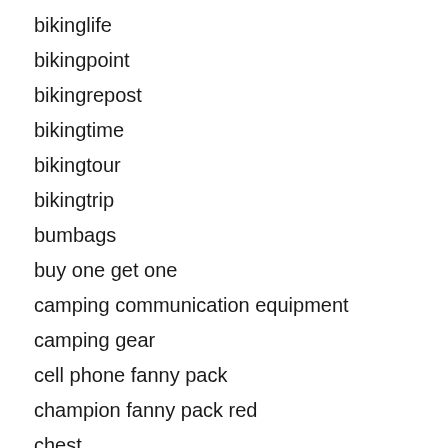bikinglife
bikingpoint
bikingrepost
bikingtime
bikingtour
bikingtrip
bumbags
buy one get one
camping communication equipment
camping gear
cell phone fanny pack
champion fanny pack red
chest